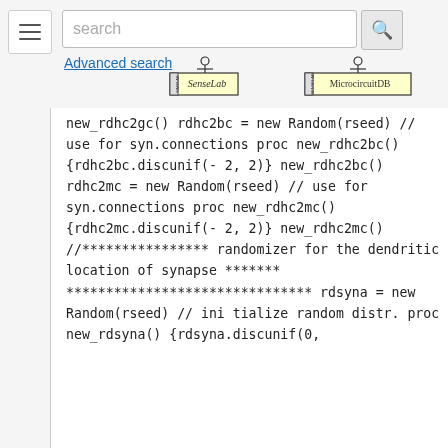[Figure (screenshot): Website navigation bar with hamburger menu, search box with search button, Advanced search link, and three database logos: SenseLab, MicrocircuitDB, ModelDB]
new_rdhc2gc()
rdhc2bc = new Random(rseed)      //
use for syn.connections
proc new_rdhc2bc() {rdhc2bc.discunif(-
2, 2)}
new_rdhc2bc()
rdhc2mc = new Random(rseed)      //
use for syn.connections
proc new_rdhc2mc() {rdhc2mc.discunif(-
2, 2)}
new_rdhc2mc()

//****************  randomizer for the
dendritic location of synapse  ************************************

rdsyna = new Random(rseed)      // ini
tialize random distr.
proc new_rdsyna() {rdsyna.discunif(0,